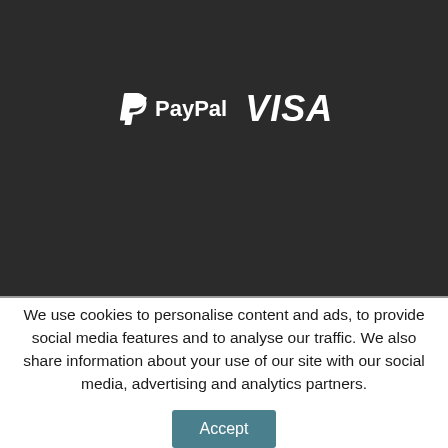[Figure (logo): PayPal and VISA logos displayed in white on a dark background]
We use cookies to personalise content and ads, to provide social media features and to analyse our traffic. We also share information about your use of our site with our social media, advertising and analytics partners.